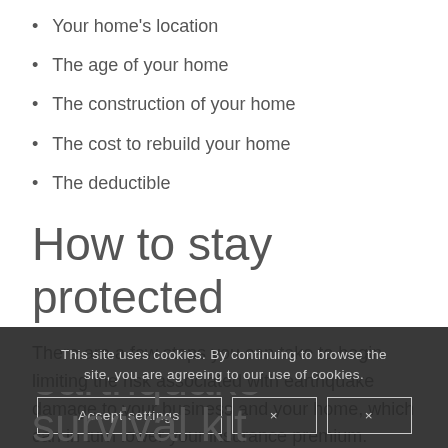Your home's location
The age of your home
The construction of your home
The cost to rebuild your home
The deductible
How to stay protected
There are a few steps you can take to begin limiting the risk associated with earthquake damage to your business and your home, which can in turn lower your insurance premium.
earthquake survival kit
This site uses cookies. By continuing to browse the site, you are agreeing to our use of cookies.